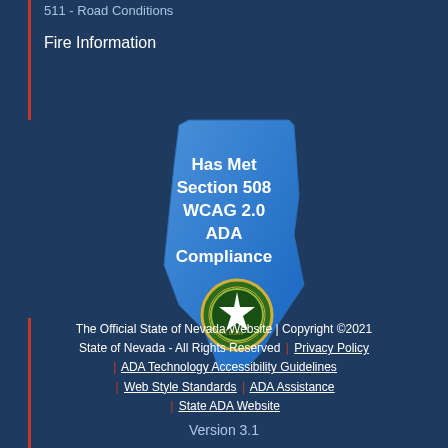511 - Road Conditions
Fire Information
[Figure (illustration): Nevada state shape badge with text 'Has Met Section 508 WCAG 2.0 ADA Compliance' and Nevada state seal at the bottom]
The Official State of Nevada Website | Copyright ©2021 State of Nevada - All Rights Reserved | Privacy Policy | ADA Technology Accessibility Guidelines | Web Style Standards | ADA Assistance | State ADA Website
Version 3.1